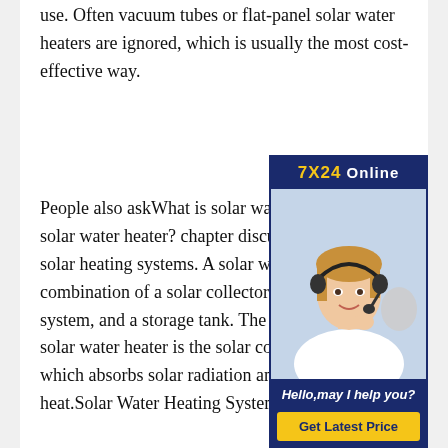use. Often vacuum tubes or flat-panel solar water heaters are ignored, which is usually the most cost-effective way.
[Figure (photo): Online customer service chat widget with a woman wearing a headset, labeled '7X24 Online' with 'Hello, may I help you?' and a 'Get Latest Price' button.]
People also askWhat is solar water heater?What is solar water heater? chapter discusses different solar heating systems. A solar water heater is a combination of a solar collector, an energy transfer system, and a storage tank. The main part of a solar water heater is the solar collector array, which absorbs solar radiation and converts it to heat.Solar Water Heating System - an